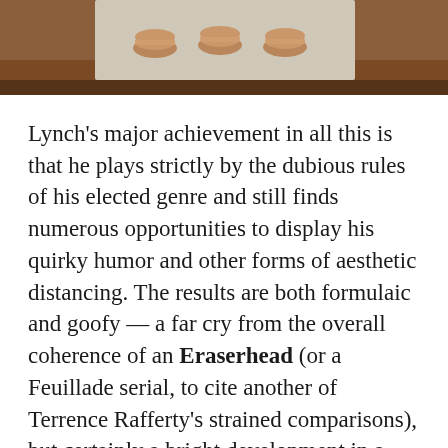[Figure (photo): Photograph of small round cookie-like objects (macarons or cookies) arranged on a light-colored cloth or surface, with a warm brown wooden background. The image is cropped showing the top portion of the scene.]
Lynch's major achievement in all this is that he plays strictly by the dubious rules of his elected genre and still finds numerous opportunities to display his quirky humor and other forms of aesthetic distancing. The results are both formulaic and goofy — a far cry from the overall coherence of an Eraserhead (or a Feuillade serial, to cite another of Terrence Rafferty's strained comparisons), but certainly a bright development in a moribund genre, and a story that sets up enough mysteries to get some genuine momentum going.